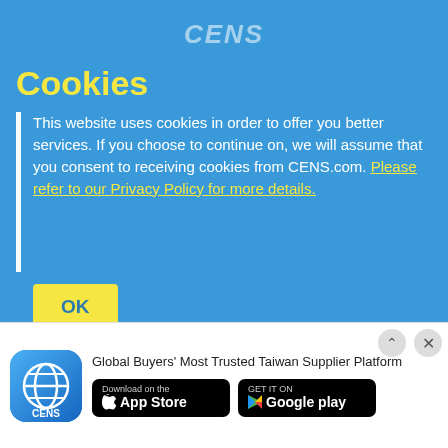CENS
Cookies
This website uses cookies in order to offer you better services. If you choose to continue on, we will assume that you consent to receiving cookies from CENS.com. Please refer to our Privacy Policy for more details.
OK
Booth: M1310
HUATAI ELECTRIC CABLE & WIRE CO., LTD.
FLYW- Thick Wall　Heat Resistant with Conductor
Booth: J1331
CHENG MAO PRECISION SEALING CO., LTD.
TRUCK OIL SEAL
Global Buyers' Most Trusted Taiwan Supplier Platform
[Figure (logo): CENS app icon - blue globe logo]
[Figure (logo): Download on the App Store button]
[Figure (logo): Get it on Google Play button]